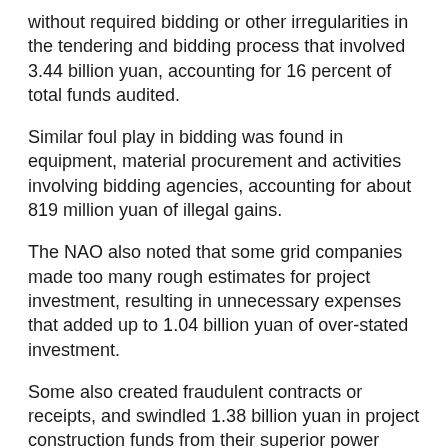without required bidding or other irregularities in the tendering and bidding process that involved 3.44 billion yuan, accounting for 16 percent of total funds audited.
Similar foul play in bidding was found in equipment, material procurement and activities involving bidding agencies, accounting for about 819 million yuan of illegal gains.
The NAO also noted that some grid companies made too many rough estimates for project investment, resulting in unnecessary expenses that added up to 1.04 billion yuan of over-stated investment.
Some also created fraudulent contracts or receipts, and swindled 1.38 billion yuan in project construction funds from their superior power companies.
The NAO said it has passed relevant leads to legal departments and regulators. Audit results were also presented to the State Grid Corporation and China Southern Power Grid, two state-owned firms in charge of the power transmission project.